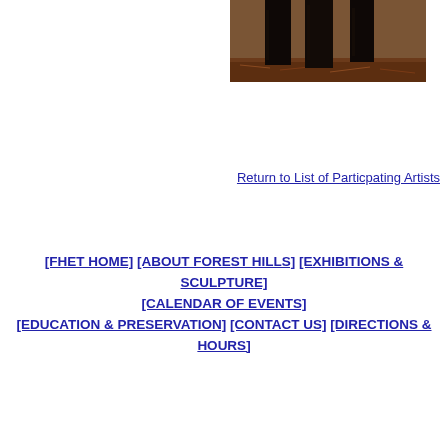[Figure (photo): Photograph of dark tree trunks in a forest with pine needle covered ground]
Return to List of Particpating Artists
[FHET HOME] [ABOUT FOREST HILLS] [EXHIBITIONS & SCULPTURE] [CALENDAR OF EVENTS] [EDUCATION & PRESERVATION] [CONTACT US] [DIRECTIONS & HOURS]